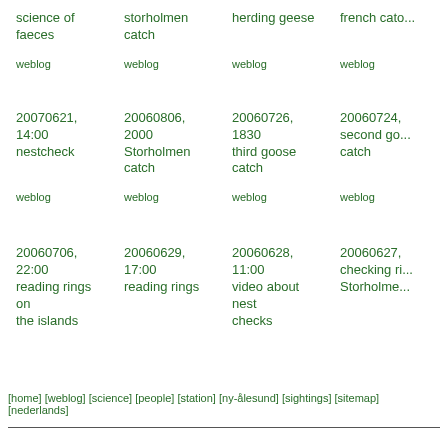science of faeces
storholmen catch
herding geese
french catch
weblog
weblog
weblog
weblog
20070621, 14:00 nestcheck
20060806, 2000 Storholmen catch
20060726, 1830 third goose catch
20060724, second goose catch
weblog
weblog
weblog
weblog
20060706, 22:00 reading rings on the islands
20060629, 17:00 reading rings
20060628, 11:00 video about nest checks
20060627, checking rings Storholmen
[home] [weblog] [science] [people] [station] [ny-ålesund] [sightings] [sitemap] [nederlands]